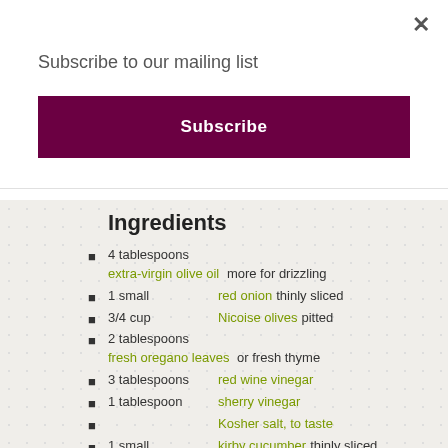Subscribe to our mailing list
Subscribe
Ingredients
4 tablespoons extra-virgin olive oil more for drizzling
1 small red onion thinly sliced
3/4 cup Nicoise olives pitted
2 tablespoons fresh oregano leaves or fresh thyme
3 tablespoons red wine vinegar
1 tablespoon sherry vinegar
Kosher salt, to taste
1 small kirby cucumber thinly sliced
1 tablespoon honey divided
5 large ripe tomatoes chopped